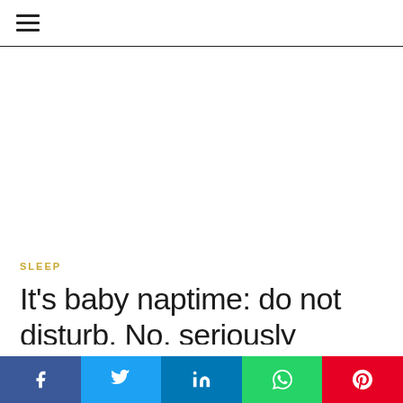≡
[Figure (other): Empty white advertisement area below header]
SLEEP
It's baby naptime: do not disturb. No, seriously
This website uses cookies to improve your experience. We'll assume you're ok with this, but you can opt-out if you wish.
Facebook Twitter LinkedIn WhatsApp Pinterest social share bar